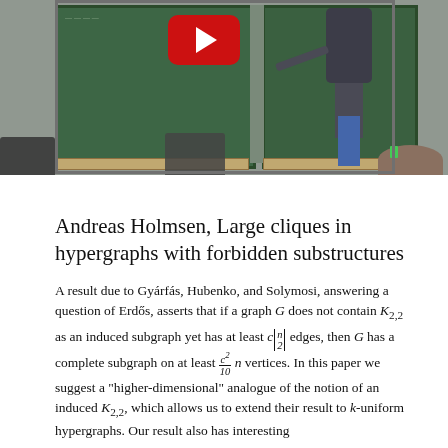[Figure (screenshot): Video thumbnail showing a lecture hall with green chalkboards, a person standing at the board, chairs, and a YouTube play button overlay.]
Andreas Holmsen, Large cliques in hypergraphs with forbidden substructures
A result due to Gyárfás, Hubenko, and Solymosi, answering a question of Erdős, asserts that if a graph G does not contain K_{2,2} as an induced subgraph yet has at least c\binom{n}{2} edges, then G has a complete subgraph on at least \frac{c^2}{10} n vertices. In this paper we suggest a "higher-dimensional" analogue of the notion of an induced K_{2,2}, which allows us to extend their result to k-uniform hypergraphs. Our result also has interesting